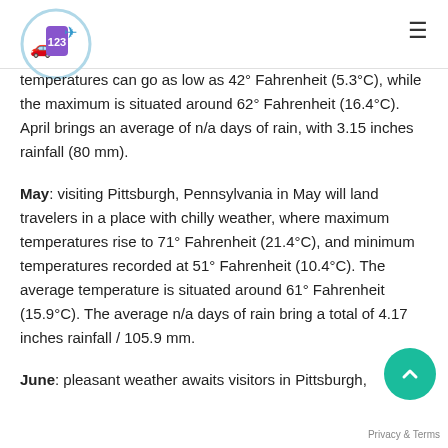[Figure (logo): Travel/booking website logo with car, plane, and price tag icon inside a circle]
temperatures can go as low as 42° Fahrenheit (5.3°C), while the maximum is situated around 62° Fahrenheit (16.4°C). April brings an average of n/a days of rain, with 3.15 inches rainfall (80 mm).
May: visiting Pittsburgh, Pennsylvania in May will land travelers in a place with chilly weather, where maximum temperatures rise to 71° Fahrenheit (21.4°C), and minimum temperatures recorded at 51° Fahrenheit (10.4°C). The average temperature is situated around 61° Fahrenheit (15.9°C). The average n/a days of rain bring a total of 4.17 inches rainfall / 105.9 mm.
June: pleasant weather awaits visitors in Pittsburgh,